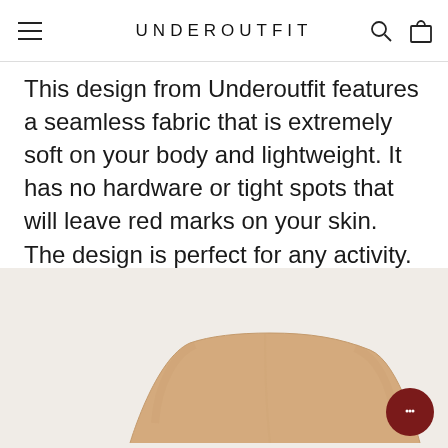UNDEROUTFIT
This design from Underoutfit features a seamless fabric that is extremely soft on your body and lightweight. It has no hardware or tight spots that will leave red marks on your skin. The design is perfect for any activity.
[Figure (photo): Beige seamless underwear/thong on a light beige background]